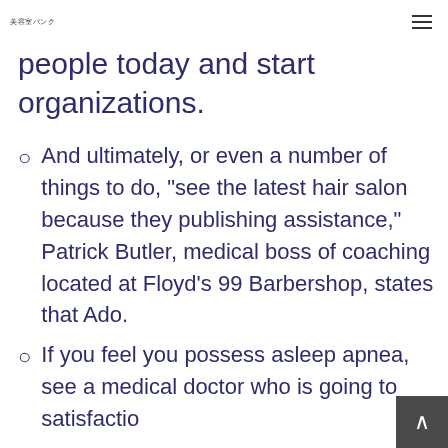美容室バンク
people today and start organizations.
And ultimately, or even a number of things to do, “see the latest hair salon because they publishing assistance,” Patrick Butler, medical boss of coaching located at Floyd’s 99 Barbershop, states that Ado.
If you feel you possess asleep apnea, see a medical doctor who is going to satisfactio